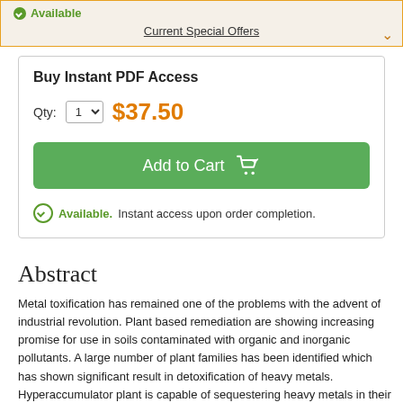Available
Current Special Offers
Buy Instant PDF Access
Qty: 1  $37.50
Add to Cart
Available. Instant access upon order completion.
Abstract
Metal toxification has remained one of the problems with the advent of industrial revolution. Plant based remediation are showing increasing promise for use in soils contaminated with organic and inorganic pollutants. A large number of plant families has been identified which has shown significant result in detoxification of heavy metals. Hyperaccumulator plant is capable of sequestering heavy metals in their shoot tissues. High tolerance to HM toxicity is dependent on a reduced metal uptake or increased internal sequestration, which depends on plant and environmental condition. Recent progresses on understanding cellular/molecular mechanisms of metal tolerance by plants are